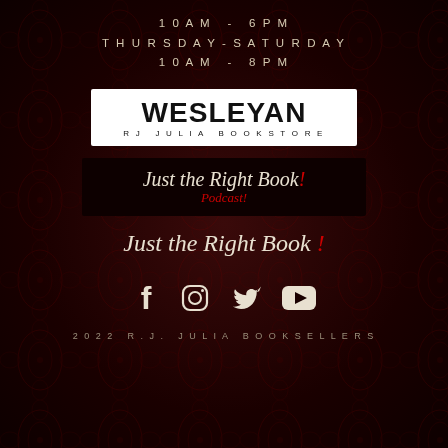10AM - 6PM
THURSDAY-SATURDAY
10AM - 8PM
[Figure (logo): Wesleyan RJ Julia Bookstore logo — white rectangle with bold black WESLEYAN text and smaller 'RJ JULIA BOOKSTORE' subtitle]
[Figure (logo): Just the Right Book! Podcast logo — dark background with italic serif text 'Just the Right Book!' in cream with red exclamation, and 'Podcast!' in red italic below]
[Figure (logo): Just the Right Book! logo — italic serif text 'Just the Right Book!' in cream with red exclamation mark, on dark background]
[Figure (infographic): Social media icons row: Facebook (f), Instagram (camera), Twitter (bird), YouTube (play button) — white icons on dark background]
2022 R.J. JULIA BOOKSELLERS